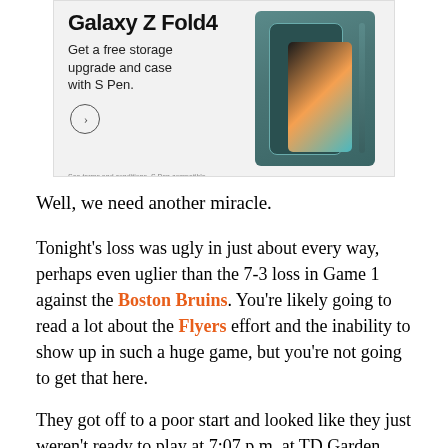[Figure (photo): Samsung Galaxy Z Fold4 advertisement. Text reads: 'Galaxy Z Fold4 - Get a free storage upgrade and case with S Pen.' Shows a teal/green folding phone with S Pen. Powered by Concert label and Feedback link at bottom.]
Well, we need another miracle.
Tonight's loss was ugly in just about every way, perhaps even uglier than the 7-3 loss in Game 1 against the Boston Bruins. You're likely going to read a lot about the Flyers effort and the inability to show up in such a huge game, but you're not going to get that here.
They got off to a poor start and looked like they just weren't ready to play at 7:07 p.m. at TD Garden tonight